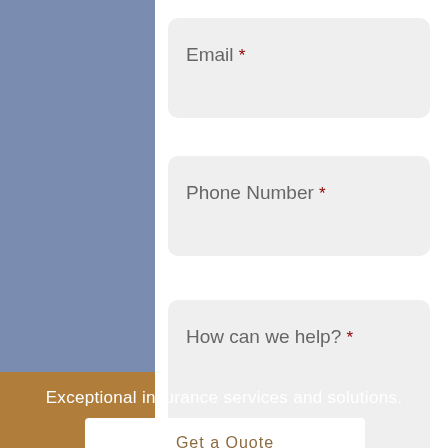Email *
Phone Number *
How can we help? *
Submit
Exceptional insurance services and solutions.
Get a Quote